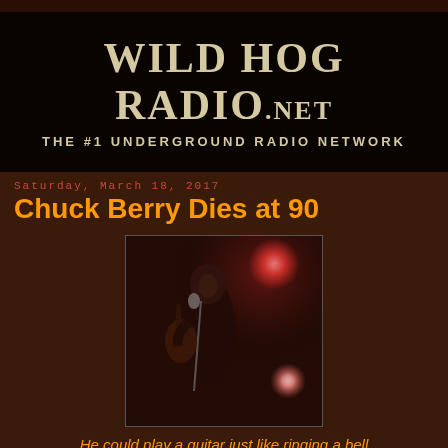WILD HOG RADIO.NET — THE #1 UNDERGROUND RADIO NETWORK
Saturday, March 18, 2017
Chuck Berry Dies at 90
[Figure (photo): Chuck Berry performing on stage with guitar, pink/red stage lights in background]
He could play a guitar just like ringing a bell